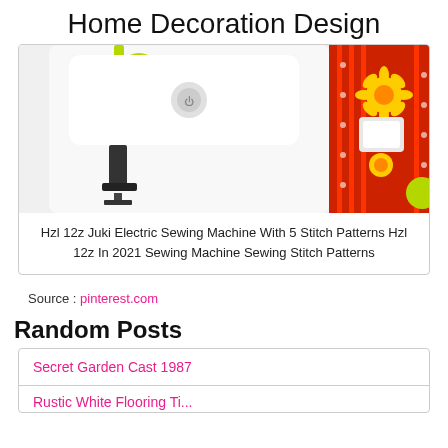Home Decoration Design
[Figure (photo): Close-up photo of a white Juki sewing machine with green accents and an orange/red decorative floral panel on the right side]
Hzl 12z Juki Electric Sewing Machine With 5 Stitch Patterns Hzl 12z In 2021 Sewing Machine Sewing Stitch Patterns
Source : pinterest.com
Random Posts
Secret Garden Cast 1987
Rustic White Flooring T...